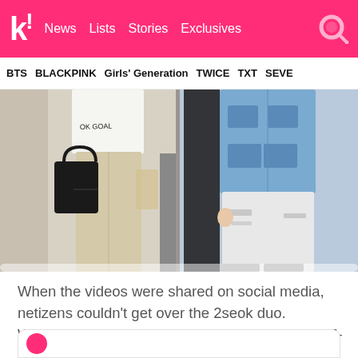k! News | Lists | Stories | Exclusives
BTS | BLACKPINK | Girls' Generation | TWICE | TXT | SEVE
[Figure (photo): Two people walking, cropped from waist down. Left person wears white t-shirt with text, beige trousers, and carries a black leather bag. Right person wears a light blue denim jacket, black pants, and white distressed jeans.]
When the videos were shared on social media, netizens couldn't get over the 2seok duo. Whether it's on Instagram or in real life, Jin and J-Hope have this unbreakable bond and their friendship with each other is undeniable.